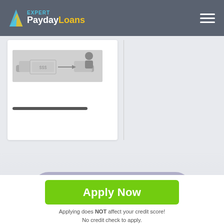[Figure (logo): PaydayLoans Expert logo with hamburger menu on dark grey header]
[Figure (illustration): Hand-to-hand money transfer illustration (greyscale), inside a white card panel]
Show more
Apply Now
Applying does NOT affect your credit score!
No credit check to apply.